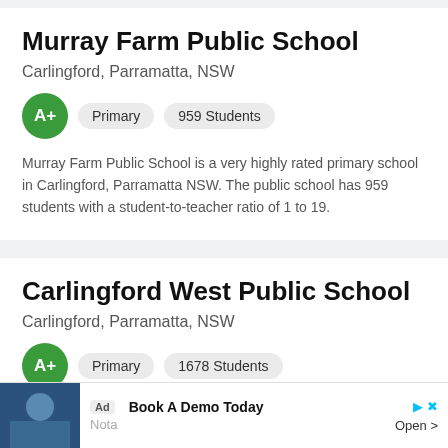Murray Farm Public School
Carlingford, Parramatta, NSW
A+  Primary  959 Students
Murray Farm Public School is a very highly rated primary school in Carlingford, Parramatta NSW. The public school has 959 students with a student-to-teacher ratio of 1 to 19.
Carlingford West Public School
Carlingford, Parramatta, NSW
A+  Primary  1678 Students
Ad  Book A Demo Today  Nota  Open